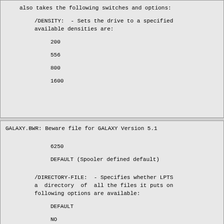also takes the following switches and options:
/DENSITY:  - Sets the drive to a specified
available densities are:
200
556
800
1600
GALAXY.BWR: Beware file for GALAXY Version 5.1
6250
DEFAULT (Spooler defined default)
/DIRECTORY-FILE:  - Specifies whether LPTS
a  directory  of  all the files it puts on
following options are available:
DEFAULT
NO